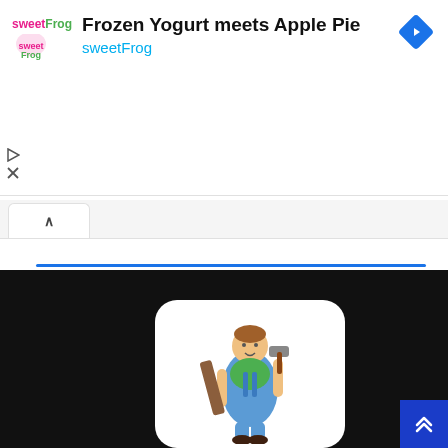[Figure (screenshot): Mobile browser screenshot showing a sweetFrog ad banner with logo, title 'Frozen Yogurt meets Apple Pie', subtitle 'sweetFrog', a blue navigation diamond icon, play and close buttons, a browser tab bar with active tab and chevron, a blue progress bar, a black content area below, a white rounded card with a cartoon carpenter holding a hammer and wood plank, and a blue scroll-up button in the bottom right corner.]